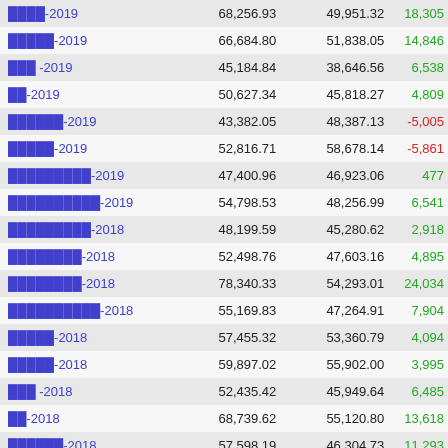|  |  |  |  |
| --- | --- | --- | --- |
| ████-2019 | 68,256.93 | 49,951.32 | 18,305 |
| █████-2019 | 66,684.80 | 51,838.05 | 14,846 |
| ███ -2019 | 45,184.84 | 38,646.56 | 6,538 |
| ██-2019 | 50,627.34 | 45,818.27 | 4,809 |
| ██████-2019 | 43,382.05 | 48,387.13 | -5,005 |
| █████-2019 | 52,816.71 | 58,678.14 | -5,861 |
| █████████-2019 | 47,400.96 | 46,923.06 | 477 |
| ██████████-2019 | 54,798.53 | 48,256.99 | 6,541 |
| █████████-2018 | 48,199.59 | 45,280.62 | 2,918 |
| ████████-2018 | 52,498.76 | 47,603.16 | 4,895 |
| ████████-2018 | 78,340.33 | 54,293.01 | 24,034 |
| ██████████-2018 | 55,169.83 | 47,264.91 | 7,904 |
| █████-2018 | 57,455.32 | 53,360.79 | 4,094 |
| █████-2018 | 59,897.02 | 55,902.00 | 3,995 |
| ███ -2018 | 52,435.42 | 45,949.64 | 6,485 |
| ██-2018 | 68,739.62 | 55,120.80 | 13,618 |
| ██████-2018 | 57,598.19 | 46,304.73 | 11,293 |
| █████-2018 | 62,582.21 | 53,326.71 | 9,255 |
| ██████████-2018 | 64,223.48 | 48,391.21 | 15,832 |
| ██████████-2018 | 74,648.76 | 65,658.01 | 8,990 |
| ████████-2017 | 61,181.32 | 52,848.02 | 8,333 |
| ████████-2017 | 65,075.86 | 52,995.76 | 12,080 |
| ███████-2017 | 50,000.00 | 48,010.00 | 0 |